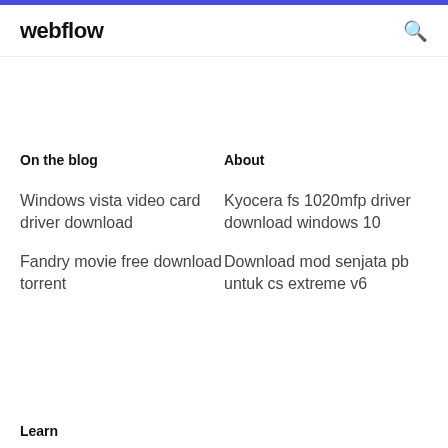webflow
On the blog
About
Windows vista video card driver download
Fandry movie free download torrent
Kyocera fs 1020mfp driver download windows 10
Download mod senjata pb untuk cs extreme v6
Learn